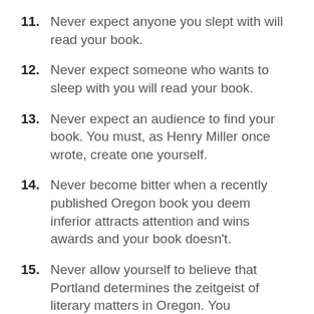11. Never expect anyone you slept with will read your book.
12. Never expect someone who wants to sleep with you will read your book.
13. Never expect an audience to find your book. You must, as Henry Miller once wrote, create one yourself.
14. Never become bitter when a recently published Oregon book you deem inferior attracts attention and wins awards and your book doesn't.
15. Never allow yourself to believe that Portland determines the zeitgeist of literary matters in Oregon. You